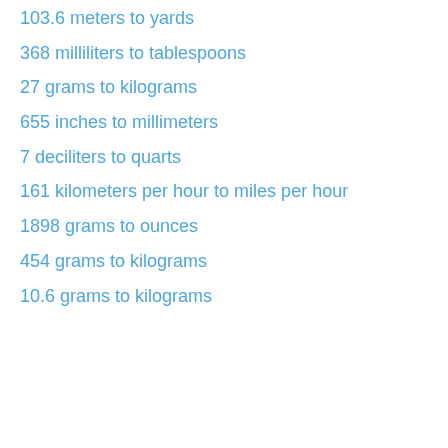103.6 meters to yards
368 milliliters to tablespoons
27 grams to kilograms
655 inches to millimeters
7 deciliters to quarts
161 kilometers per hour to miles per hour
1898 grams to ounces
454 grams to kilograms
10.6 grams to kilograms